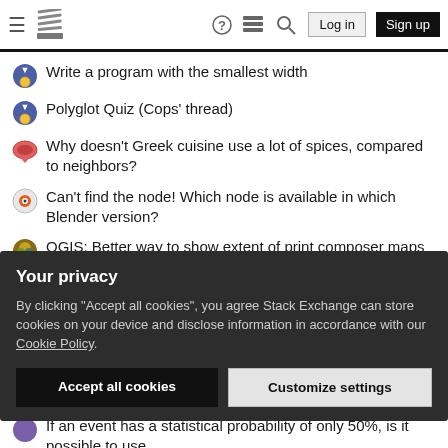Stack Exchange navigation header with Log in and Sign up buttons
Write a program with the smallest width
Polyglot Quiz (Cops' thread)
Why doesn't Greek cuisine use a lot of spices, compared to neighbors?
Can't find the node! Which node is available in which Blender version?
QGIS: Better way to show extent of print composer maps in main canvas
Would hoofed creatures bother with sails on their ships?
Is it legal to remove a contributor's name from code?
Is there a law against signing a contract to do something illegal?
Your privacy
By clicking "Accept all cookies", you agree Stack Exchange can store cookies on your device and disclose information in accordance with our Cookie Policy.
Accept all cookies | Customize settings
If an event has a statistical probability of only 50%, is it possible to use